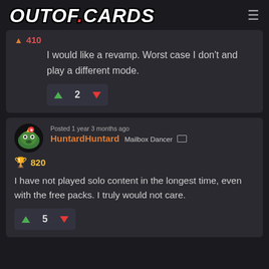OUTOF.CARDS
I would like a revamp. Worst case I don't and play a different mode.
2
HuntardHuntard Mailbox Dancer — Posted 1 year 3 months ago — 820
I have not played solo content in the longest time, even with the free packs. I truly would not care.
5